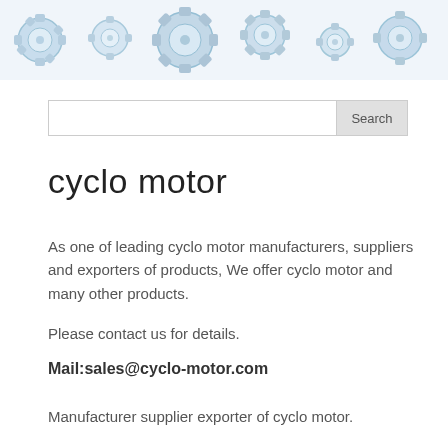[Figure (illustration): Banner image with blue watercolor gears and cog wheels pattern on white background]
Search
cyclo motor
As one of leading cyclo motor manufacturers, suppliers and exporters of products, We offer cyclo motor and many other products.
Please contact us for details.
Mail:sales@cyclo-motor.com
Manufacturer supplier exporter of cyclo motor.